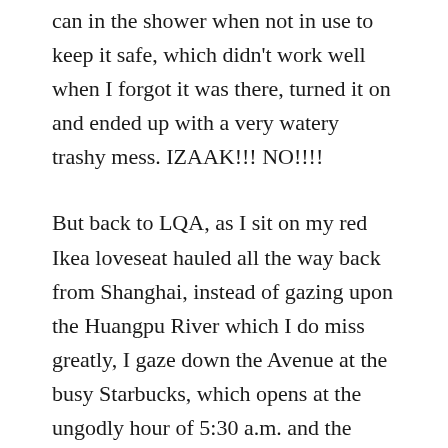can in the shower when not in use to keep it safe, which didn't work well when I forgot it was there, turned it on and ended up with a very watery trashy mess. IZAAK!!! NO!!!!
But back to LQA, as I sit on my red Ikea loveseat hauled all the way back from Shanghai, instead of gazing upon the Huangpu River which I do miss greatly, I gaze down the Avenue at the busy Starbucks, which opens at the ungodly hour of 5:30 a.m. and the Mediterranean Inn above it. A few weeks ago we had company over and while Skyping with baby Mia, I glanced over at the Inn and saw a pole extend slowly out of one of the hotel windows, at least 16 feet or so long with duct tape holding several pieces together and